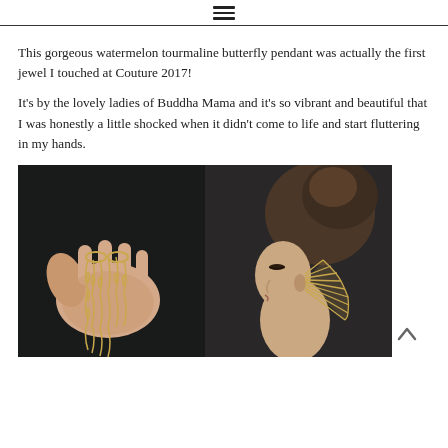☰
This gorgeous watermelon tourmaline butterfly pendant was actually the first jewel I touched at Couture 2017!
It's by the lovely ladies of Buddha Mama and it's so vibrant and beautiful that I was honestly a little shocked when it didn't come to life and start fluttering in my hands.
[Figure (photo): Two side-by-side photos: left shows a hand holding long gold wire dangle earrings against a dark background; right shows a woman with an updo hairstyle wearing a large gold fan-shaped earring, seen from the side, dark background.]